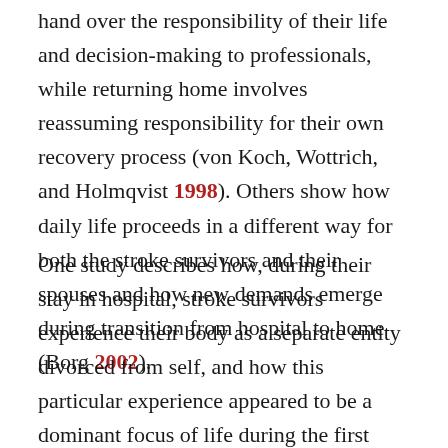hand over the responsibility of their life and decision-making to professionals, while returning home involves reassuming responsibility for their own recovery process (von Koch, Wottrich, and Holmqvist 1998). Others show how daily life proceeds in a different way for both the stroke survivors and their spouses and how new demands emerge during transition from hospital to home (Borg 2002).
One study describes how, during their stay in hospital, stroke survivors experience their body as a separate entity divorced from self, and how this particular experience appeared to be a dominant focus of life during the first year (Ellis-Hill, Payne, and Word 2000). Another study investigated how discharge affects patients. It found that stroke survivors...